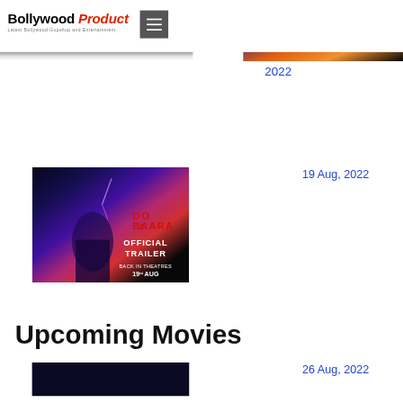Bollywood Product – Latest Bollywood Gupshup and Entertainment
[Figure (screenshot): Movie poster partial view — IN CINEMAS ON 25TH AUG]
2022
[Figure (screenshot): Do Bazraa 2 Official Trailer poster — OFFICIAL TRAILER, 19th AUG, featuring a woman with lightning]
19 Aug, 2022
Upcoming Movies
[Figure (screenshot): Movie poster thumbnail (partially visible, dark background)]
26 Aug, 2022